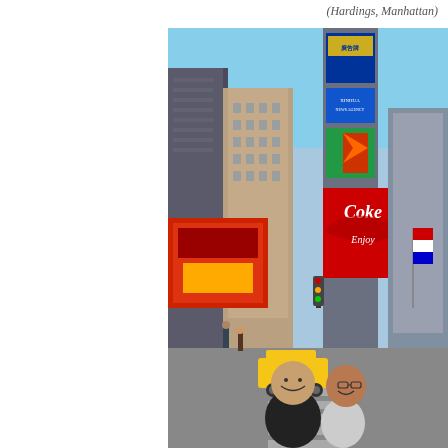(Hardings, Manhattan)
[Figure (photo): A photograph of two people (a man and a woman) smiling and posing in Times Square, Manhattan, with tall buildings covered in large LED billboards including a Coca-Cola advertisement, busy street traffic, and pedestrians visible in the background under a blue sky.]